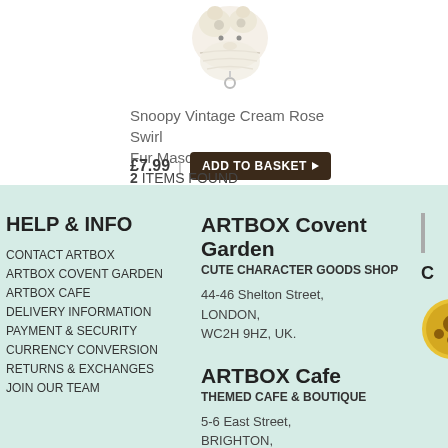[Figure (photo): Snoopy Vintage Cream Rose Swirl Fur Mascot Keychain product photo, fluffy cream-colored stuffed toy keychain]
Snoopy Vintage Cream Rose Swirl Fur Mascot Keychain
£7.99 | ADD TO BASKET ▶
2 ITEMS FOUND
HELP & INFO
CONTACT ARTBOX
ARTBOX COVENT GARDEN
ARTBOX CAFE
DELIVERY INFORMATION
PAYMENT & SECURITY
CURRENCY CONVERSION
RETURNS & EXCHANGES
JOIN OUR TEAM
ARTBOX Covent Garden
CUTE CHARACTER GOODS SHOP
44-46 Shelton Street,
LONDON,
WC2H 9HZ, UK.
ARTBOX Cafe
THEMED CAFE & BOUTIQUE
5-6 East Street,
BRIGHTON,
BN1 1HP, UK.